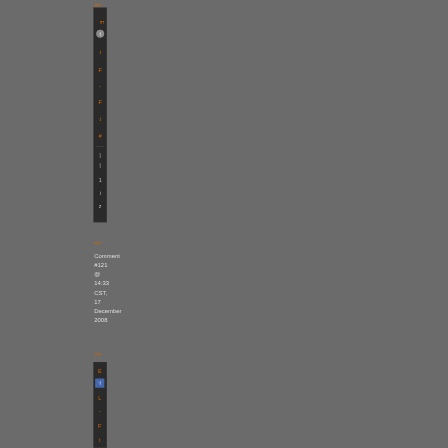>>
[Figure (screenshot): Dark sidebar navigation bar with orange text rotated vertically, showing: E, icon, t, F, -, F, t, #, and white/gray characters below]
<<
Comment #121 @ 14:33 CST, 17 December 2008
>>
[Figure (screenshot): Dark sidebar navigation bar with orange text rotated vertically, showing: E, icon, L, -, F, t]